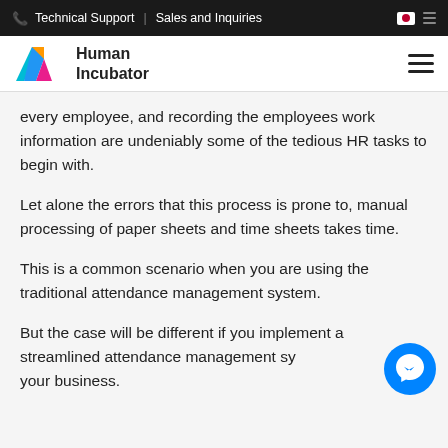Technical Support | Sales and Inquiries
[Figure (logo): Human Incubator logo with colorful H icon and company name]
every employee, and recording the employees work information are undeniably some of the tedious HR tasks to begin with.
Let alone the errors that this process is prone to, manual processing of paper sheets and time sheets takes time.
This is a common scenario when you are using the traditional attendance management system.
But the case will be different if you implement a streamlined attendance management system for your business.
[Figure (illustration): Facebook Messenger floating button (blue circle with white Messenger icon)]